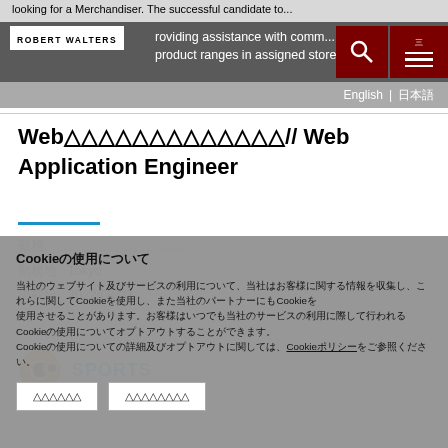looking for a Merchandiser. The successful candidate to... providing assistance with comm... product ranges in assigned stores.
Web△△△△△△△△△△△△△// Web Application Engineer
勤務: △△△△△△△△△△
勤務地: Tokyo
掲載日: 2022/08/03
[Figure (logo): Sports category logo with orange soccer ball icon and SPORTS text in blue]
Cookieの使用について
当社のウェブサイト及びサービスの利用について、Cookie等の情報を収集し、これらに関してCookieを使用します。また、当社はお客様のブラウザのCookieを設定し、第三者のサービスとデータを共有する場合があります。Cookieの詳細及びお客様が設定できるオプション等の詳細については、Cookieポリシーをご確認ください。
△△△△△△　△△△△△△△△